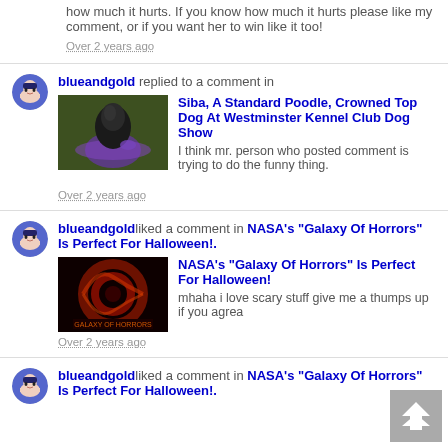how much it hurts. If you know how much it hurts please like my comment, or if you want her to win like it too!
Over 2 years ago
blueandgold replied to a comment in Siba, A Standard Poodle, Crowned Top Dog At Westminster Kennel Club Dog Show
I think mr. person who posted comment is trying to do the funny thing.
Over 2 years ago
blueandgold liked a comment in NASA's "Galaxy Of Horrors" Is Perfect For Halloween!. NASA's "Galaxy Of Horrors" Is Perfect For Halloween! mhaha i love scary stuff give me a thumps up if you agrea
Over 2 years ago
blueandgold liked a comment in NASA's "Galaxy Of Horrors" Is Perfect For Halloween!.